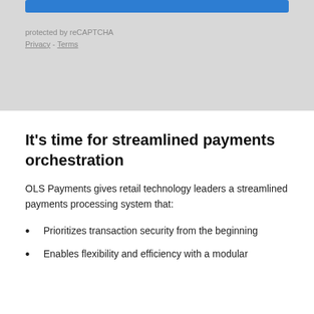[Figure (screenshot): Grey background section with a blue button bar at the top and reCAPTCHA protection notice below]
protected by reCAPTCHA
Privacy - Terms
It’s time for streamlined payments orchestration
OLS Payments gives retail technology leaders a streamlined payments processing system that:
Prioritizes transaction security from the beginning
Enables flexibility and efficiency with a modular